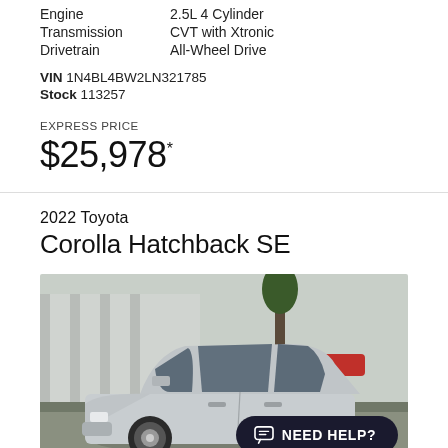Engine: 2.5L 4 Cylinder
Transmission: CVT with Xtronic
Drivetrain: All-Wheel Drive
VIN 1N4BL4BW2LN321785
Stock 113257
EXPRESS PRICE
$25,978*
2022 Toyota
Corolla Hatchback SE
[Figure (photo): Silver 2022 Toyota Corolla Hatchback SE photographed in a dealership parking lot, three-quarter front view, with trees and other vehicles visible in the background.]